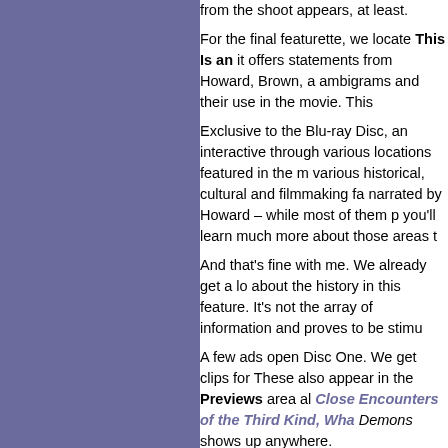from the shoot appears, at least.
For the final featurette, we locate This Is an it offers statements from Howard, Brown, a ambigrams and their use in the movie. This
Exclusive to the Blu-ray Disc, an interactive through various locations featured in the m various historical, cultural and filmmaking fa narrated by Howard – while most of them p you'll learn much more about those areas t
And that's fine with me. We already get a lo about the history in this feature. It's not the array of information and proves to be stimu
A few ads open Disc One. We get clips for These also appear in the Previews area al Close Encounters of the Third Kind, Wha Demons shows up anywhere.
As usual, we get a Digital Copy of the film your computer or portable viewing thingy. A
Perhaps I enjoyed Angels & Demons due to Da Vinci Code, but I don't think so. I've now little adventure. The Blu-ray gives us very g supplements. Even if you didn't care for Co
Viewer Film Ratings: 3.6 Stars
[Figure (other): Star rating icons showing approximately 4 red stars out of 5, with a 0 next to them]